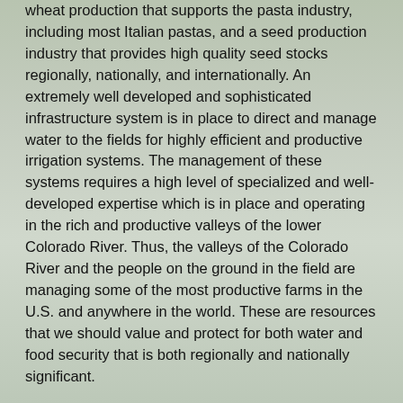wheat production that supports the pasta industry, including most Italian pastas, and a seed production industry that provides high quality seed stocks regionally, nationally, and internationally.  An extremely well developed and sophisticated infrastructure system is in place to direct and manage water to the fields for highly efficient and productive irrigation systems.  The management of these systems requires a high level of specialized and well-developed expertise which is in place and operating in the rich and productive valleys of the lower Colorado River.  Thus, the valleys of the Colorado River and the people on the ground in the field are managing some of the most productive farms in the U.S. and anywhere in the world.  These are resources that we should value and protect for both water and food security that is both regionally and nationally significant.
Analysis of the desert Southwest's paleoclimate have shown a distinct susceptibility of the region to experien...